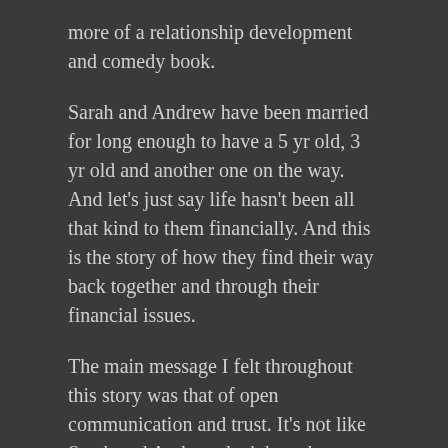more of a relationship development and comedy book.
Sarah and Andrew have been married for long enough to have a 5 yr old, 3 yr old and another one on the way. And let's just say life hasn't been all that kind to them financially. And this is the story of how they find their way back together and through their financial issues.
The main message I felt throughout this story was that of open communication and trust. It's not like Sarah and Andrew don't have honest conversations. It just felt like there was room for improvement in their communication overall.
Little things like how they felt about their house, how to try and make more money etc just didn't quite line up between the two of them. Those are kind of important to get right in relationships. Those kinds of breakdown in